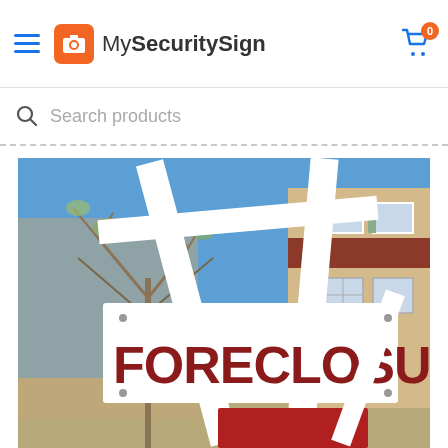MySecuritySign
Search products
[Figure (photo): A foreclosure real estate sign with large red letters reading FORECLOSURE, mounted on white wooden posts in front of a suburban house with a blue sky and bare trees in the background.]